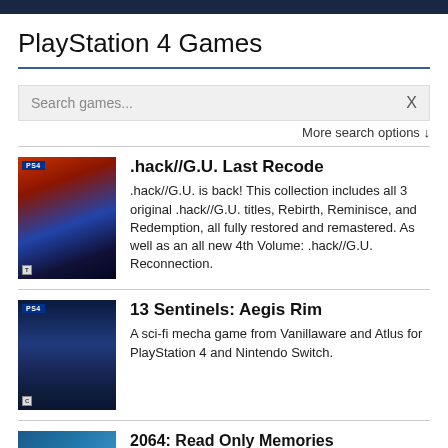PlayStation 4 Games
Search games...
More search options ↓
.hack//G.U. Last Recode
.hack//G.U. is back! This collection includes all 3 original .hack//G.U. titles, Rebirth, Reminisce, and Redemption, all fully restored and remastered. As well as an all new 4th Volume: .hack//G.U. Reconnection.
13 Sentinels: Aegis Rim
A sci-fi mecha game from Vanillaware and Atlus for PlayStation 4 and Nintendo Switch.
2064: Read Only Memories